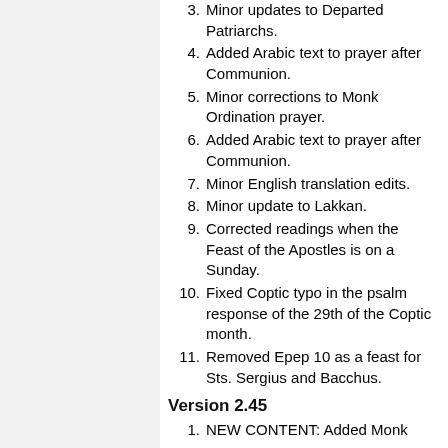3. Minor updates to Departed Patriarchs.
4. Added Arabic text to prayer after Communion.
5. Minor corrections to Monk Ordination prayer.
6. Added Arabic text to prayer after Communion.
7. Minor English translation edits.
8. Minor update to Lakkan.
9. Corrected readings when the Feast of the Apostles is on a Sunday.
10. Fixed Coptic typo in the psalm response of the 29th of the Coptic month.
11. Removed Epep 10 as a feast for Sts. Sergius and Bacchus.
Version 2.45
1. NEW CONTENT: Added Monk